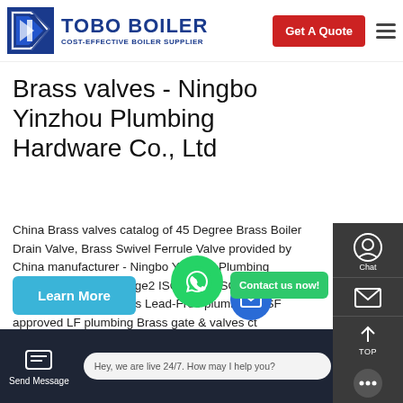[Figure (logo): TOBO BOILER logo with blue text and tagline COST-EFFECTIVE BOILER SUPPLIER, with Get A Quote red button and hamburger menu]
Brass valves - Ningbo Yinzhou Plumbing Hardware Co., Ltd
China Brass valves catalog of 45 Degree Brass Boiler Drain Valve, Brass Swivel Ferrule Valve provided by China manufacturer - Ningbo Yinzhou Plumbing Hardware Co., Ltd., page2 ISO 9001, ISO 14000 Brass valves Brass ball valves Lead-Free plumbing NSF approved LF plumbing Brass gate & valves ct
[Figure (screenshot): Learn More button (teal), WhatsApp floating button (green), Contact us now button (green), email circle (blue)]
[Figure (screenshot): Bottom bar with Send Message icon, chat bubble saying Hey, we are live 24/7. How may I help you?, and Inquiry Online button]